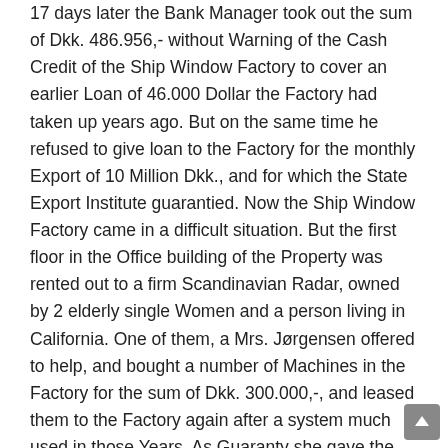17 days later the Bank Manager took out the sum of Dkk. 486.956,- without Warning of the Cash Credit of the Ship Window Factory to cover an earlier Loan of 46.000 Dollar the Factory had taken up years ago. But on the same time he refused to give loan to the Factory for the monthly Export of 10 Million Dkk., and for which the State Export Institute guarantied. Now the Ship Window Factory came in a difficult situation. But the first floor in the Office building of the Property was rented out to a firm Scandinavian Radar, owned by 2 elderly single Women and a person living in California. One of them, a Mrs. Jørgensen offered to help, and bought a number of Machines in the Factory for the sum of Dkk. 300.000,-, and leased them to the Factory again after a system much used in those Years. As Guaranty she gave the Factory a Mortgage in her House, not to be used before the Machines were registered in her Name. To be sure of this, I placed the Mortgage in my private Deposit in the Bank before I again went to Tenerife.